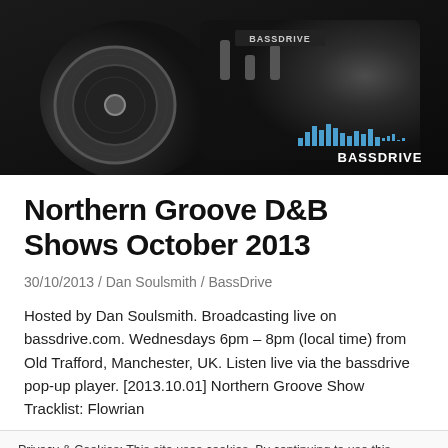[Figure (photo): Black and white photo of DJ turntable/mixer equipment with BassDrive logo in bottom right corner]
Northern Groove D&B Shows October 2013
30/10/2013 / Dan Soulsmith / BassDrive
Hosted by Dan Soulsmith. Broadcasting live on bassdrive.com. Wednesdays 6pm – 8pm (local time) from Old Trafford, Manchester, UK. Listen live via the bassdrive pop-up player. [2013.10.01] Northern Groove Show Tracklist: Flowrian
Privacy & Cookies: This site uses cookies. By continuing to use this website, you agree to their use.
To find out more, including how to control cookies, see here: Cookie Policy
Close and accept